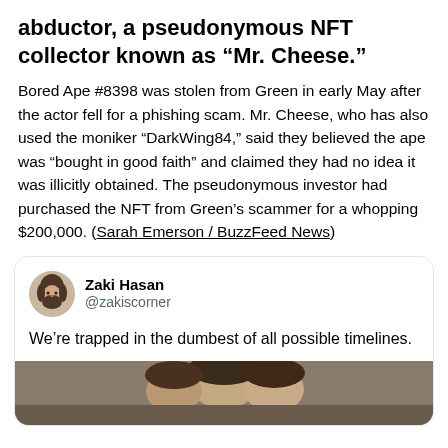abductor, a pseudonymous NFT collector known as “Mr. Cheese.”
Bored Ape #8398 was stolen from Green in early May after the actor fell for a phishing scam. Mr. Cheese, who has also used the moniker “DarkWing84,” said they believed the ape was “bought in good faith” and claimed they had no idea it was illicitly obtained. The pseudonymous investor had purchased the NFT from Green’s scammer for a whopping $200,000. (Sarah Emerson / BuzzFeed News)
[Figure (screenshot): Tweet by Zaki Hasan (@zakiscorner) with avatar photo and tweet image. Tweet text: We’re trapped in the dumbest of all possible timelines.]